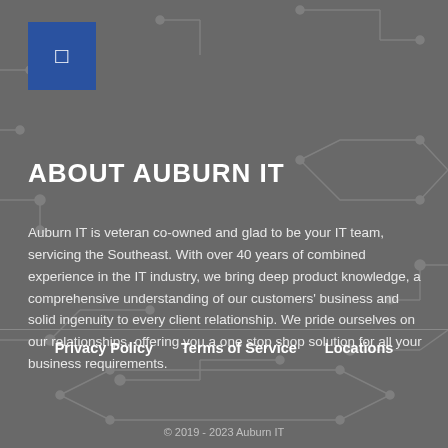[Figure (logo): Blue square logo with a white symbol/icon inside]
ABOUT AUBURN IT
Auburn IT is veteran co-owned and glad to be your IT team, servicing the Southeast. With over 40 years of combined experience in the IT industry, we bring deep product knowledge, a comprehensive understanding of our customers' business and solid ingenuity to every client relationship. We pride ourselves on our relationships, offering you a one stop shop solution for all your business requirements.
Privacy Policy   Terms of Service   Locations
© 2019 - 2023 Auburn IT